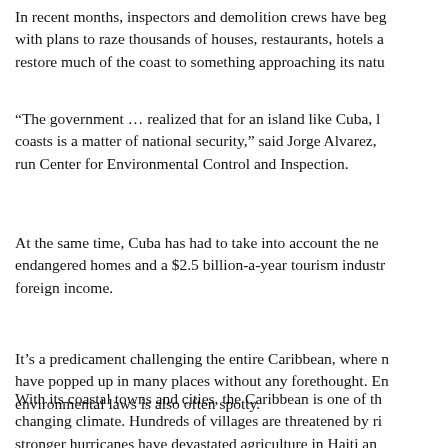In recent months, inspectors and demolition crews have beg with plans to raze thousands of houses, restaurants, hotels a restore much of the coast to something approaching its natu
“The government … realized that for an island like Cuba, l coasts is a matter of national security,” said Jorge Alvarez, run Center for Environmental Control and Inspection.
At the same time, Cuba has had to take into account the ne endangered homes and a $2.5 billion-a-year tourism industr foreign income.
It’s a predicament challenging the entire Caribbean, where have popped up in many places without any forethought. E environmental laws is also often spotty.
With its coastal towns and cities, the Caribbean is one of th changing climate. Hundreds of villages are threatened by ri stronger hurricanes have devastated agriculture in Haiti an